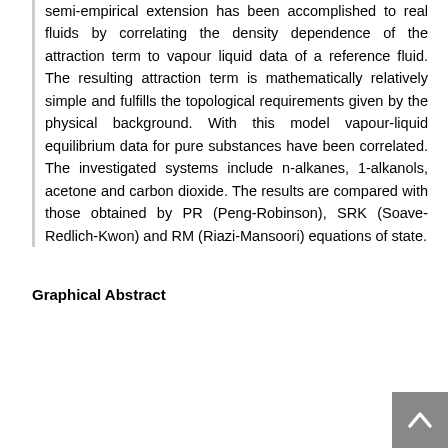semi-empirical extension has been accomplished to real fluids by correlating the density dependence of the attraction term to vapour liquid data of a reference fluid. The resulting attraction term is mathematically relatively simple and fulfills the topological requirements given by the physical background. With this model vapour-liquid equilibrium data for pure substances have been correlated. The investigated systems include n-alkanes, 1-alkanols, acetone and carbon dioxide. The results are compared with those obtained by PR (Peng-Robinson), SRK (Soave-Redlich-Kwon) and RM (Riazi-Mansoori) equations of state.
Graphical Abstract
[Figure (other): Graphical abstract area showing affiliation text: Department of Chemistry, Amirkabir University of Technology, 15875-, partially obscured by cookie consent overlay]